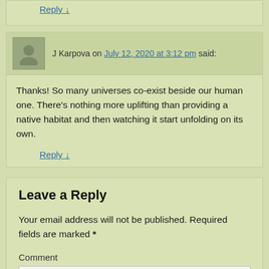Reply ↓
J Karpova on July 12, 2020 at 3:12 pm said:
Thanks! So many universes co-exist beside our human one. There's nothing more uplifting than providing a native habitat and then watching it start unfolding on its own.
Reply ↓
Leave a Reply
Your email address will not be published. Required fields are marked *
Comment